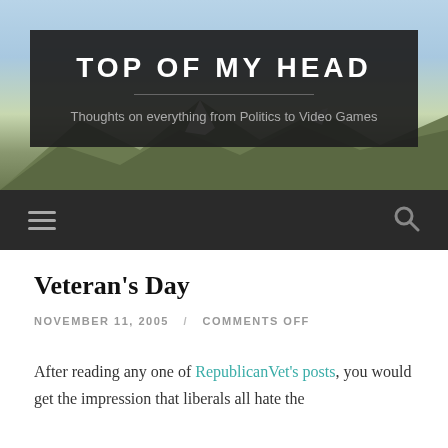[Figure (photo): Mountain landscape with snow-capped peaks, evergreen trees, and blue sky — used as blog header background image]
TOP OF MY HEAD
Thoughts on everything from Politics to Video Games
≡  🔍
Veteran's Day
NOVEMBER 11, 2005 / COMMENTS OFF
After reading any one of RepublicanVet's posts, you would get the impression that liberals all hate the